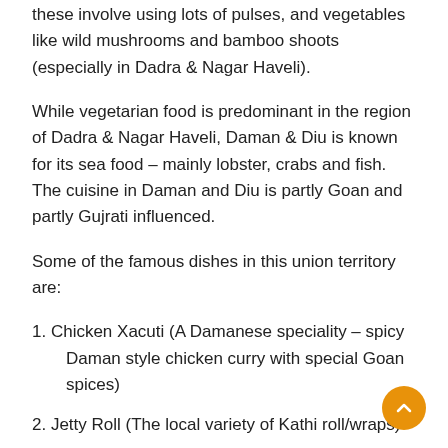these involve using lots of pulses, and vegetables like wild mushrooms and bamboo shoots (especially in Dadra & Nagar Haveli).
While vegetarian food is predominant in the region of Dadra & Nagar Haveli, Daman & Diu is known for its sea food – mainly lobster, crabs and fish. The cuisine in Daman and Diu is partly Goan and partly Gujrati influenced.
Some of the famous dishes in this union territory are:
1. Chicken Xacuti (A Damanese speciality – spicy Daman style chicken curry with special Goan spices)
2. Jetty Roll (The local variety of Kathi roll/wraps)